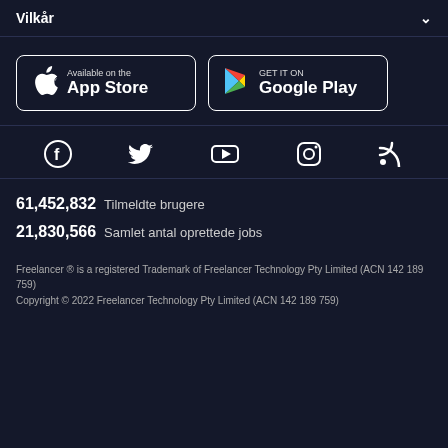Vilkår
[Figure (screenshot): App Store and Google Play download buttons side by side]
[Figure (infographic): Social media icons row: Facebook, Twitter, YouTube, Instagram, RSS]
61,452,832  Tilmeldte brugere
21,830,566  Samlet antal oprettede jobs
Freelancer ® is a registered Trademark of Freelancer Technology Pty Limited (ACN 142 189 759)
Copyright © 2022 Freelancer Technology Pty Limited (ACN 142 189 759)